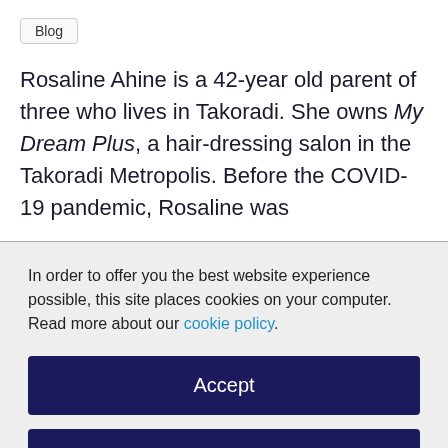Blog
Rosaline Ahine is a 42-year old parent of three who lives in Takoradi. She owns My Dream Plus, a hair-dressing salon in the Takoradi Metropolis. Before the COVID-19 pandemic, Rosaline was
In order to offer you the best website experience possible, this site places cookies on your computer. Read more about our cookie policy.
Accept
Decline